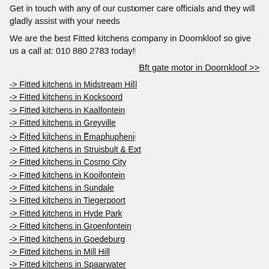Get in touch with any of our customer care officials and they will gladly assist with your needs
We are the best Fitted kitchens company in Doornkloof so give us a call at: 010 880 2783 today!
Bft gate motor in Doornkloof >>
-> Fitted kitchens in Midstream Hill
-> Fitted kitchens in Kocksoord
-> Fitted kitchens in Kaalfontein
-> Fitted kitchens in Greyville
-> Fitted kitchens in Emaphupheni
-> Fitted kitchens in Struisbult & Ext
-> Fitted kitchens in Cosmo City
-> Fitted kitchens in Kooifontein
-> Fitted kitchens in Sundale
-> Fitted kitchens in Tiegerpoort
-> Fitted kitchens in Hyde Park
-> Fitted kitchens in Groenfontein
-> Fitted kitchens in Goedeburg
-> Fitted kitchens in Mill Hill
-> Fitted kitchens in Spaarwater
-> Fitted kitchens in Asiatic Bazaar
-> Fitted kitchens in Dunkeld
-> Fitted kitchens in Muswelldale
-> Fitted kitchens in Kwa Thema